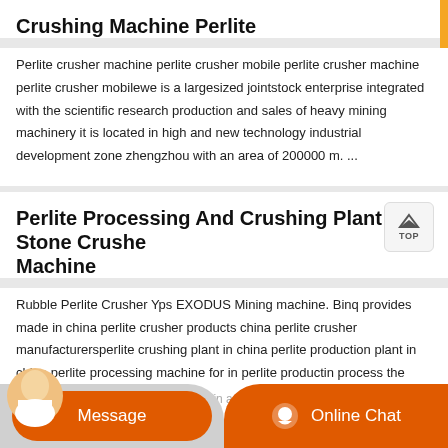Crushing Machine Perlite
Perlite crusher machine perlite crusher mobile perlite crusher machine perlite crusher mobilewe is a largesized jointstock enterprise integrated with the scientific research production and sales of heavy mining machinery it is located in high and new technology industrial development zone zhengzhou with an area of 200000 m. ...
Perlite Processing And Crushing Plant Stone Crusher Machine
Rubble Perlite Crusher Yps EXODUS Mining machine. Binq provides made in china perlite crusher products china perlite crusher manufacturersperlite crushing plant in china perlite production plant in china perlite processing machine for in perlite productin process the